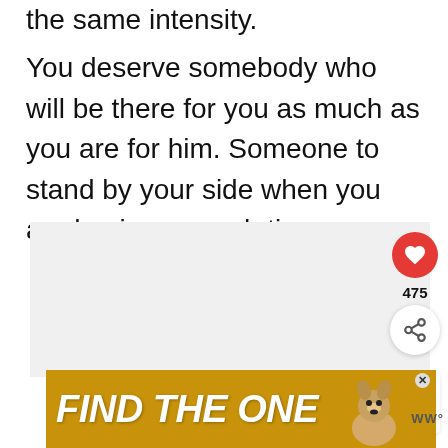the same intensity.
You deserve somebody who will be there for you as much as you are for him. Someone to stand by your side when you are having a rough time.
[Figure (screenshot): Social media article UI with heart/like button showing 475 likes, share button, and 'What's Next' panel showing '5 Signs You Are Just...' with thumbnail]
[Figure (infographic): Advertisement banner with gold/yellow background reading 'FIND THE ONE' in bold white italic text with a dog image and close button. WW logo to the right.]